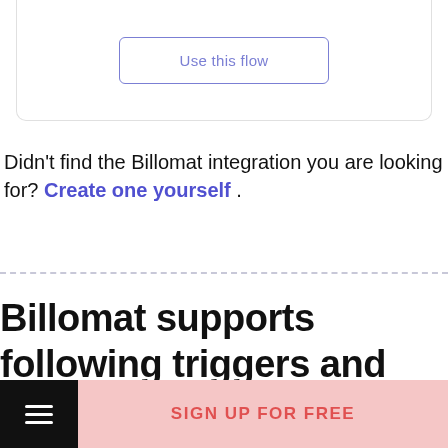[Figure (screenshot): A button labeled 'Use this flow' with a purple border inside a card with rounded bottom corners]
Didn't find the Billomat integration you are looking for? Create one yourself .
Billomat supports following triggers and actions
[Figure (screenshot): Bottom navigation bar with hamburger menu icon on black background and 'SIGN UP FOR FREE' text on pink background]